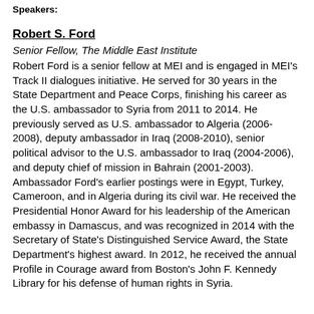Speakers:
Robert S. Ford
Senior Fellow, The Middle East Institute
Robert Ford is a senior fellow at MEI and is engaged in MEI's Track II dialogues initiative. He served for 30 years in the State Department and Peace Corps, finishing his career as the U.S. ambassador to Syria from 2011 to 2014. He previously served as U.S. ambassador to Algeria (2006-2008), deputy ambassador in Iraq (2008-2010), senior political advisor to the U.S. ambassador to Iraq (2004-2006), and deputy chief of mission in Bahrain (2001-2003). Ambassador Ford's earlier postings were in Egypt, Turkey, Cameroon, and in Algeria during its civil war. He received the Presidential Honor Award for his leadership of the American embassy in Damascus, and was recognized in 2014 with the Secretary of State's Distinguished Service Award, the State Department's highest award. In 2012, he received the annual Profile in Courage award from Boston's John F. Kennedy Library for his defense of human rights in Syria.